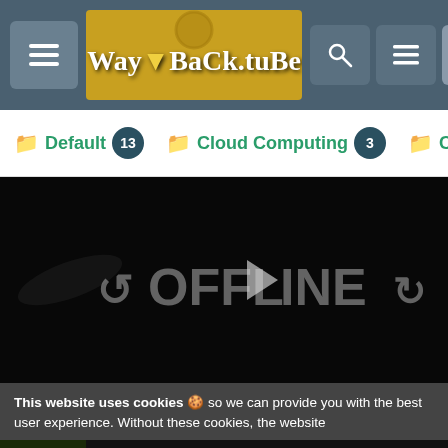WayBackTube — hamburger menu, logo, search, menu, login buttons
Default 13
Cloud Computing 3
Comedy 43
[Figure (screenshot): Video player showing OFFLINE screen with play button icon on dark background]
This website uses cookies 🍪 so we can provide you with the best user experience. Without these cookies, the website simply would not work.
Deep State Is Aimin On Taking Our Rights... Be...